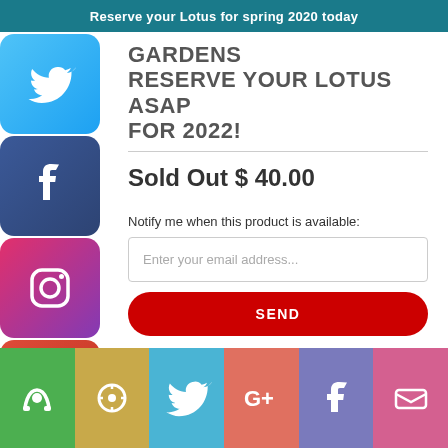Reserve your Lotus for spring 2020 today
GARDENS
RESERVE YOUR LOTUS ASAP FOR 2022!
Sold Out $ 40.00
Notify me when this product is available:
Enter your email address...
SEND
Lotus Plant Description
Pink Beauty Lotus has a thereally